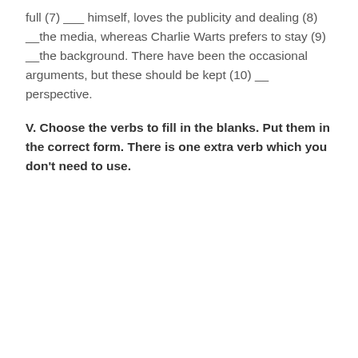full (7) ___ himself, loves the publicity and dealing (8) __the media, whereas Charlie Warts prefers to stay (9) __the background. There have been the occasional arguments, but these should be kept (10) __ perspective.
V. Choose the verbs to fill in the blanks. Put them in the correct form. There is one extra verb which you don't need to use.